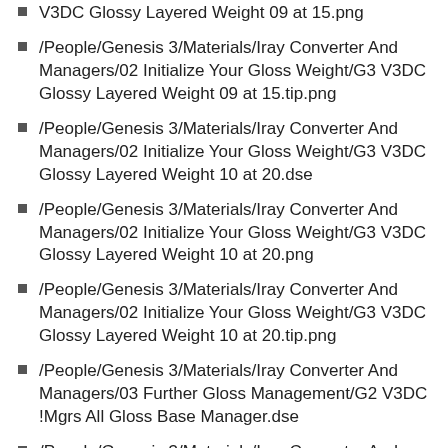V3DC Glossy Layered Weight 09 at 15.png
/People/Genesis 3/Materials/Iray Converter And Managers/02 Initialize Your Gloss Weight/G3 V3DC Glossy Layered Weight 09 at 15.tip.png
/People/Genesis 3/Materials/Iray Converter And Managers/02 Initialize Your Gloss Weight/G3 V3DC Glossy Layered Weight 10 at 20.dse
/People/Genesis 3/Materials/Iray Converter And Managers/02 Initialize Your Gloss Weight/G3 V3DC Glossy Layered Weight 10 at 20.png
/People/Genesis 3/Materials/Iray Converter And Managers/02 Initialize Your Gloss Weight/G3 V3DC Glossy Layered Weight 10 at 20.tip.png
/People/Genesis 3/Materials/Iray Converter And Managers/03 Further Gloss Management/G2 V3DC !Mgrs All Gloss Base Manager.dse
/People/Genesis 3/Materials/Iray Converter And Managers/03 Further Gloss Management/G2 V3DC !Mgrs All Gloss Base Manager.png
/People/Genesis 3/Materials/Iray Converter And Managers/03 Further Gloss Management/G2